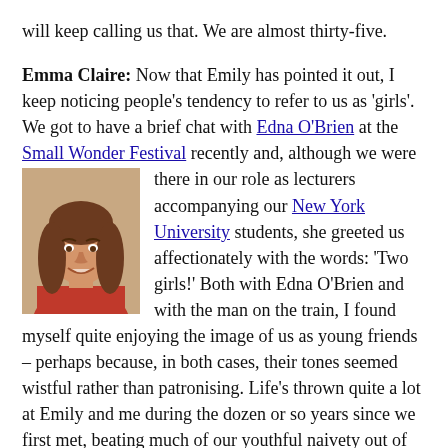will keep calling us that. We are almost thirty-five.
Emma Claire: Now that Emily has pointed it out, I keep noticing people's tendency to refer to us as 'girls'. We got to have a brief chat with Edna O'Brien at the Small Wonder Festival recently and, although we were there in our role as lecturers accompanying our New York University students, she greeted us affectionately with the words: 'Two girls!' Both with Edna O'Brien and with the man on the train, I found myself quite enjoying the image of us as young friends – perhaps because, in both cases, their tones seemed wistful rather than patronising. Life's thrown quite a lot at Emily and me during the dozen or so years since we first met, beating much of our youthful naivety out of
[Figure (photo): Headshot photo of a woman with long brown hair wearing a red top, smiling]